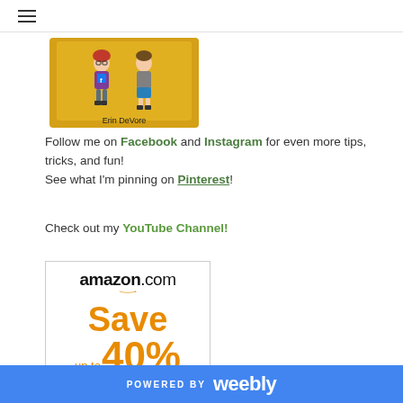≡
[Figure (illustration): Book cover showing two cartoon children characters on a golden background with author name 'Erin DeVore']
Follow me on Facebook and Instagram for even more tips, tricks, and fun!
See what I'm pinning on Pinterest!
Check out my YouTube Channel!
[Figure (other): Amazon.com advertisement showing 'Save up to 40%' text in orange with amazon logo and smile arrow]
POWERED BY weebly